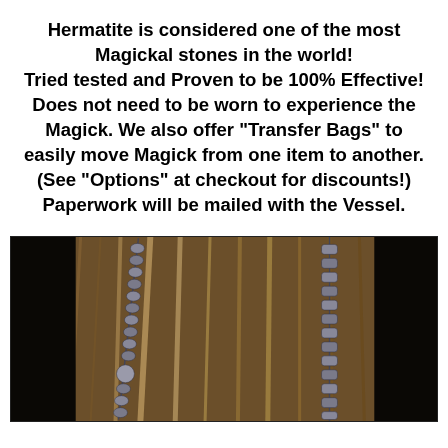Hermatite is considered one of the most Magickal stones in the world! Tried tested and Proven to be 100% Effective! Does not need to be worn to experience the Magick. We also offer "Transfer Bags" to easily move Magick from one item to another. (See "Options" at checkout for discounts!) Paperwork will be mailed with the Vessel.
[Figure (photo): Two hematite bead bracelets/necklaces laid on a wooden surface, showing metallic silver-gray cylindrical and round beads.]